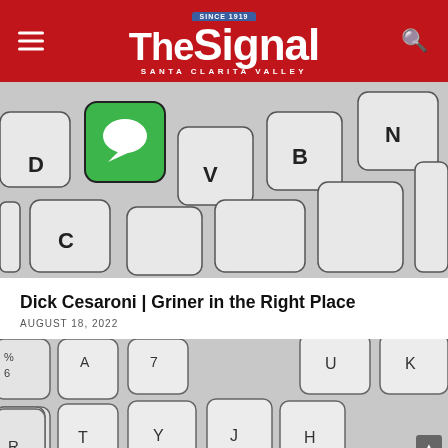The Signal — Santa Clarita Valley
[Figure (photo): Close-up photo of a keyboard with a green speech-bubble key among white keys showing letters D, C, V, B, N]
Dick Cesaroni | Griner in the Right Place
AUGUST 18, 2022
[Figure (photo): Close-up photo of a white keyboard showing keys with letters %, 6, A, 7, T, 5, Y, J, U, R, H, K and other keys]